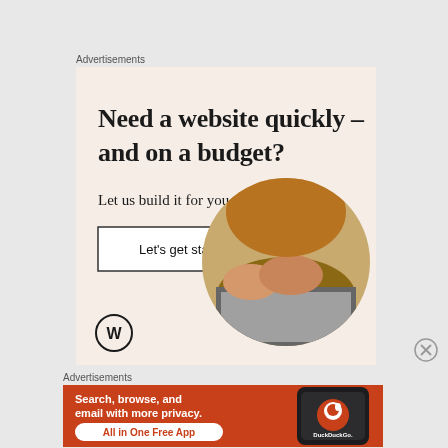Advertisements
[Figure (illustration): WordPress advertisement: beige background with serif text 'Need a website quickly – and on a budget?', subtitle 'Let us build it for you', a white button 'Let's get started', a circular photo of hands typing on a laptop, and WordPress logo at bottom left.]
Advertisements
[Figure (illustration): DuckDuckGo advertisement: orange/red background with white bold text 'Search, browse, and email with more privacy.' and a white pill-shaped button 'All in One Free App', plus a phone graphic with DuckDuckGo logo on the right.]